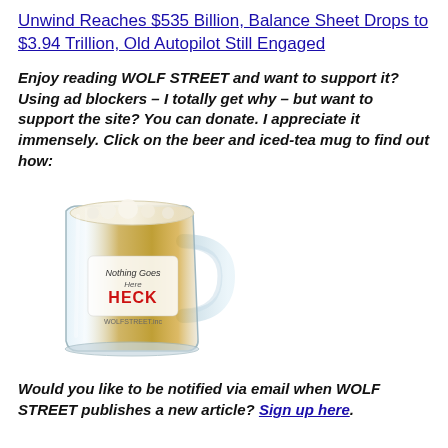Unwind Reaches $535 Billion, Balance Sheet Drops to $3.94 Trillion, Old Autopilot Still Engaged
Enjoy reading WOLF STREET and want to support it? Using ad blockers – I totally get why – but want to support the site? You can donate. I appreciate it immensely. Click on the beer and iced-tea mug to find out how:
[Figure (photo): A glass beer mug filled with amber liquid, labeled with 'Nothing Goes Here' and 'HECK' text, Wolf Street branded mug.]
Would you like to be notified via email when WOLF STREET publishes a new article? Sign up here.